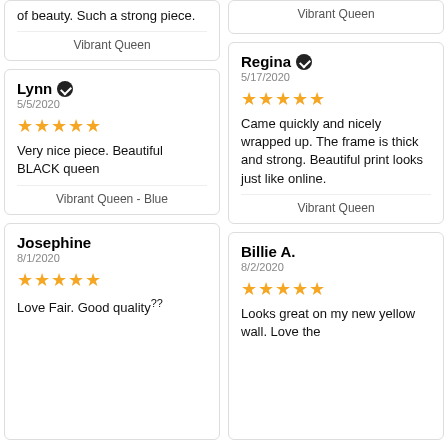of beauty. Such a strong piece.
Vibrant Queen
Vibrant Queen
Lynn ✓
5/5/2020
★★★★★
Very nice piece. Beautiful BLACK queen
Vibrant Queen - Blue
Josephine
8/1/2020
★★★★★
Love Fair. Good quality
Regina ✓
5/17/2020
★★★★★
Came quickly and nicely wrapped up. The frame is thick and strong. Beautiful print looks just like online.
Vibrant Queen
Billie A.
8/2/2020
★★★★★
Looks great on my new yellow wall. Love the